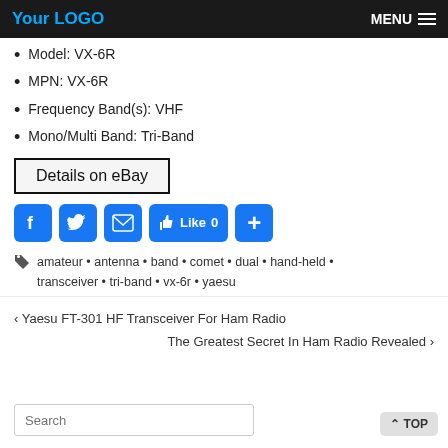Your LOGO | MENU
Model: VX-6R
MPN: VX-6R
Frequency Band(s): VHF
Mono/Multi Band: Tri-Band
Details on eBay
[Figure (infographic): Social sharing buttons: Facebook, Twitter, Email, Like 0, Plus]
amateur • antenna • band • comet • dual • hand-held • transceiver • tri-band • vx-6r • yaesu
< Yaesu FT-301 HF Transceiver For Ham Radio  The Greatest Secret In Ham Radio Revealed >
Search